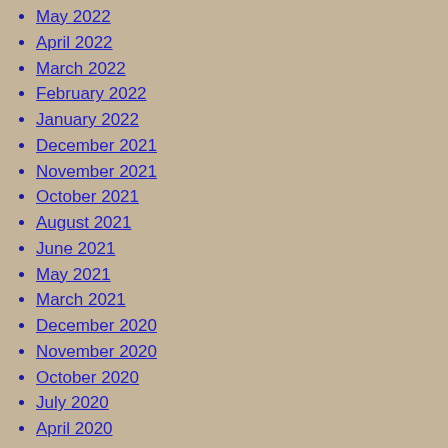May 2022
April 2022
March 2022
February 2022
January 2022
December 2021
November 2021
October 2021
August 2021
June 2021
May 2021
March 2021
December 2020
November 2020
October 2020
July 2020
April 2020
March 2020
February 2020
January 2020
December 2019